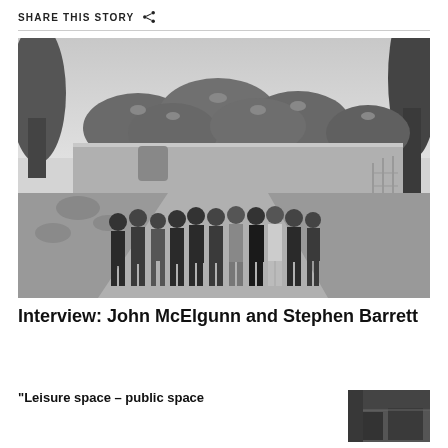SHARE THIS STORY
[Figure (photo): Black and white group photo of approximately 12 people standing outdoors in front of a large building with curved green roofs, on a construction site with dirt paths and fencing.]
Interview: John McElgunn and Stephen Barrett
"Leisure space – public space
[Figure (photo): Small thumbnail image showing a partial indoor/architectural scene, appears dark with some structural elements visible.]